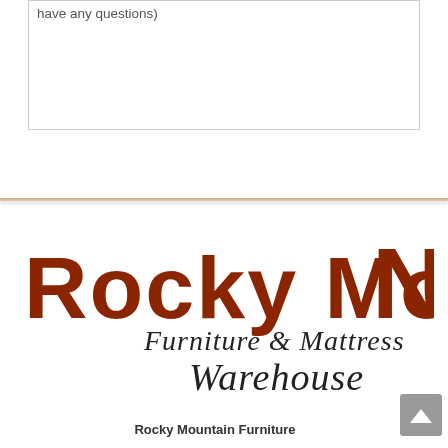have any questions)
[Figure (logo): Rocky Mountain Furniture & Mattress Warehouse logo. Large bold brown text 'Rocky MountaiN' with italic script text 'Furniture & Mattress Warehouse' beneath.]
Rocky Mountain Furniture